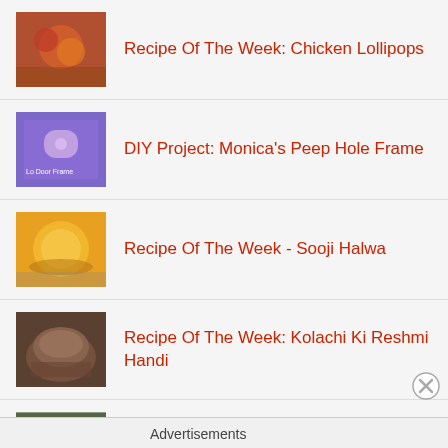Recipe Of The Week: Chicken Lollipops
DIY Project: Monica's Peep Hole Frame
Recipe Of The Week - Sooji Halwa
Recipe Of The Week: Kolachi Ki Reshmi Handi
Advertisements